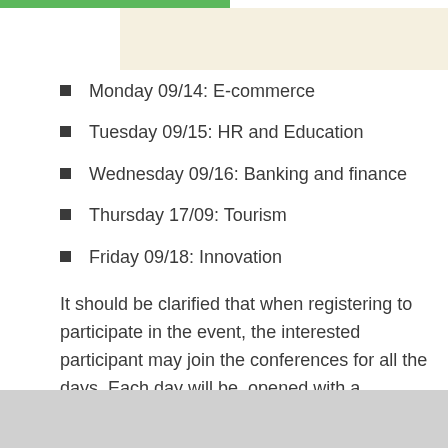Monday 09/14: E-commerce
Tuesday 09/15: HR and Education
Wednesday 09/16: Banking and finance
Thursday 17/09: Tourism
Friday 09/18: Innovation
It should be clarified that when registering to participate in the event, the interested participant may join the conferences for all the days. Each day will be  opened with a presentation by an expert , followed by  an industry success story ,  a Workshop and will end with an exclusive networking space for